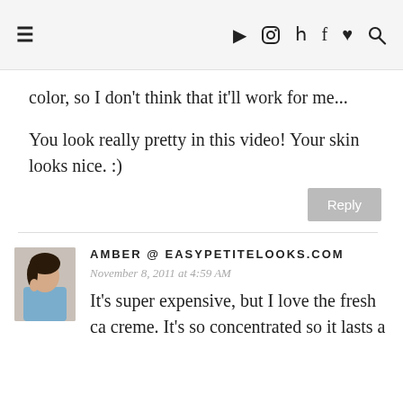≡ ▶ camera twitter f ♥ search
color, so I don't think that it'll work for me...
You look really pretty in this video! Your skin looks nice. :)
Reply
AMBER @ EASYPETITELOOKS.COM
November 8, 2011 at 4:59 AM
It's super expensive, but I love the fresh ca creme. It's so concentrated so it lasts a